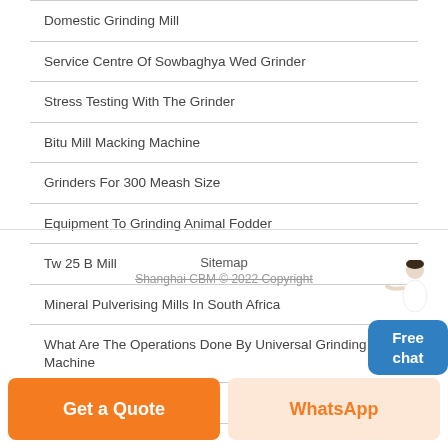Domestic Grinding Mill
Service Centre Of Sowbaghya Wed Grinder
Stress Testing With The Grinder
Bitu Mill Macking Machine
Grinders For 300 Meash Size
Equipment To Grinding Animal Fodder
Tw 25 B Mill
Mineral Pulverising Mills In South Africa
What Are The Operations Done By Universal Grinding Machine
Plain Riding Ring Mining Mill
Sitemap
Shanghai CBM © 2022 Copyright
Get a Quote
WhatsApp